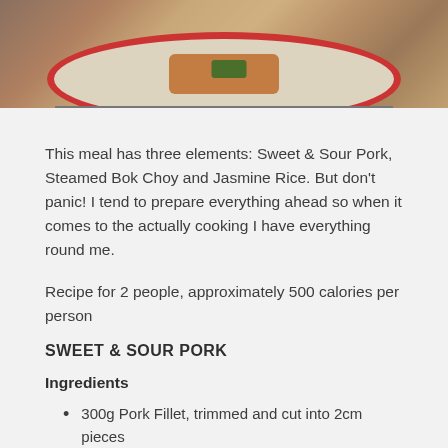[Figure (photo): Photo of a plate of food — Sweet & Sour Pork with Bok Choy on a white plate with red rim border, partially visible at top of page.]
This meal has three elements: Sweet & Sour Pork, Steamed Bok Choy and Jasmine Rice. But don't panic! I tend to prepare everything ahead so when it comes to the actually cooking I have everything round me.
Recipe for 2 people, approximately 500 calories per person
SWEET & SOUR PORK
Ingredients
300g Pork Fillet, trimmed and cut into 2cm pieces
4 tsp rape seed oil